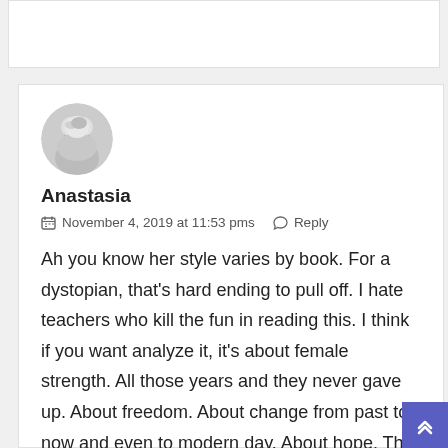[Figure (photo): Circular avatar photo of Anastasia, black and white, shows a woman with short light hair]
Anastasia
November 4, 2019 at 11:53 pms   Reply
Ah you know her style varies by book. For a dystopian, that's hard ending to pull off. I hate teachers who kill the fun in reading this. I think if you want analyze it, it's about female strength. All those years and they never gave up. About freedom. About change from past to now and even to modern day. About hope. That they made and we